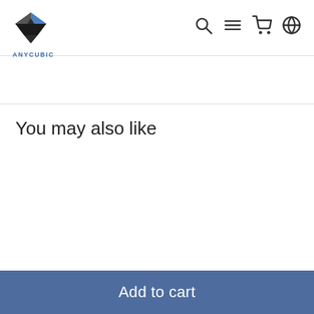ANYCUBIC
You may also like
Add to cart